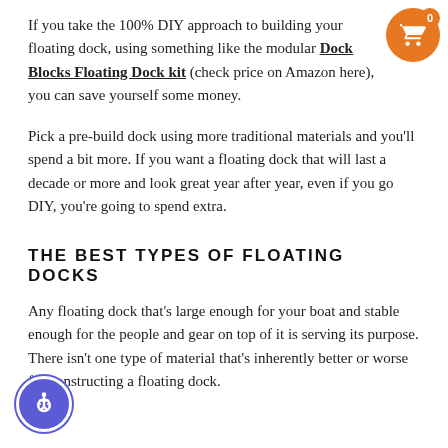If you take the 100% DIY approach to building your floating dock, using something like the modular Dock Blocks Floating Dock kit (check price on Amazon here), you can save yourself some money.
Pick a pre-build dock using more traditional materials and you'll spend a bit more. If you want a floating dock that will last a decade or more and look great year after year, even if you go DIY, you're going to spend extra.
THE BEST TYPES OF FLOATING DOCKS
Any floating dock that's large enough for your boat and stable enough for the people and gear on top of it is serving its purpose. There isn't one type of material that's inherently better or worse for constructing a floating dock.